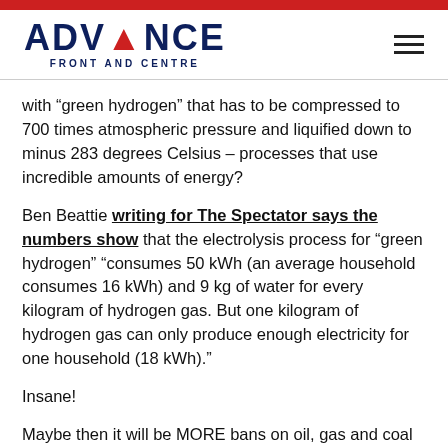ADVANCE FRONT AND CENTRE
with “green hydrogen” that has to be compressed to 700 times atmospheric pressure and liquified down to minus 283 degrees Celsius – processes that use incredible amounts of energy?
Ben Beattie writing for The Spectator says the numbers show that the electrolysis process for “green hydrogen” "consumes 50 kWh (an average household consumes 16 kWh) and 9 kg of water for every kilogram of hydrogen gas. But one kilogram of hydrogen gas can only produce enough electricity for one household (18 kWh)."
Insane!
Maybe then it will be MORE bans on oil, gas and coal exploration, drilling, mining and processing? MORE